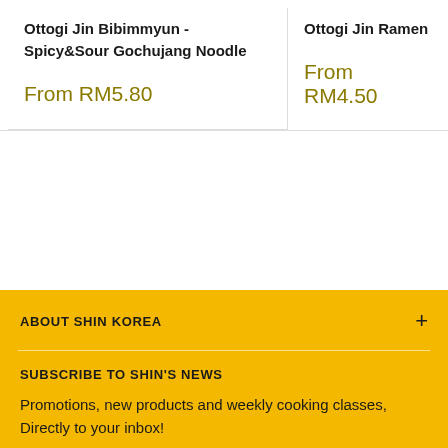Ottogi Jin Bibimmyun - Spicy&Sour Gochujang Noodle
From RM5.80
Ottogi Jin Ramen (Ho
From RM4.50
ABOUT SHIN KOREA
SUBSCRIBE TO SHIN'S NEWS
Promotions, new products and weekly cooking classes, Directly to your inbox!
We use cookies to improve your experience.
I Accept
Subscribe